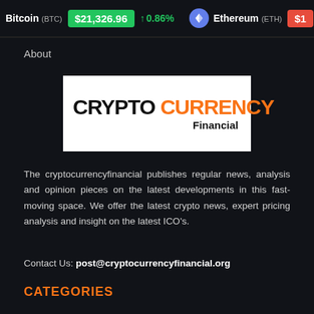Bitcoin (BTC) $21,326.96 ↑ 0.86%    Ethereum (ETH) $...
About
[Figure (logo): CryptoCurrency Financial logo: black bold text 'CRYPTO' and orange bold text 'CURRENCY' with 'Financial' in black below, on white background]
The cryptocurrencyfinancial publishes regular news, analysis and opinion pieces on the latest developments in this fast-moving space. We offer the latest crypto news, expert pricing analysis and insight on the latest ICO's.
Contact Us: post@cryptocurrencyfinancial.org
CATEGORIES